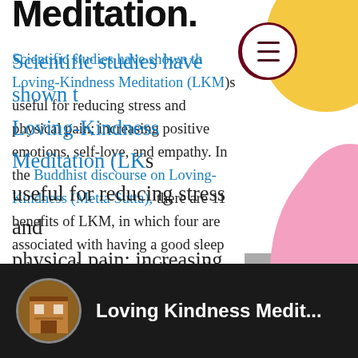Meditation.
Scientific studies have shown that Loving-Kindness Meditation (LKM) is useful for reducing stress and physical pain; increasing positive emotions, self-love, and empathy. In the Buddhist discourse on Loving-Kindness (Metta Sutta), there are 11 benefits of LKM, in which four are associated with having a good sleep - sleep well, wake up feeling well, less likely to have nightmares; relaxed body and joyful face.
This is how you can practice LKM:
[Figure (screenshot): Video thumbnail bar showing 'Loving Kindness Medit...' with a building thumbnail on the left and a chat icon on the right, on a dark background.]